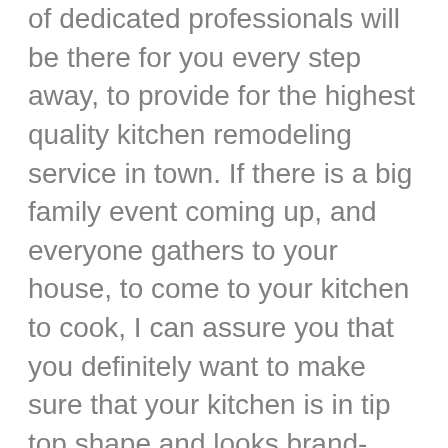of dedicated professionals will be there for you every step away, to provide for the highest quality kitchen remodeling service in town. If there is a big family event coming up, and everyone gathers to your house, to come to your kitchen to cook, I can assure you that you definitely want to make sure that your kitchen is in tip top shape and looks brand-new. Whether it is a for planning, interior designing, gas stove, whatever that might be, we will be able to make it happen for you with the best kitchen remodeling.
Yes, we have the best Basement Remodeling Milwaukee, but we also go above and beyond to provide for our customers with the highest quality bathroom remodeling in town. You will